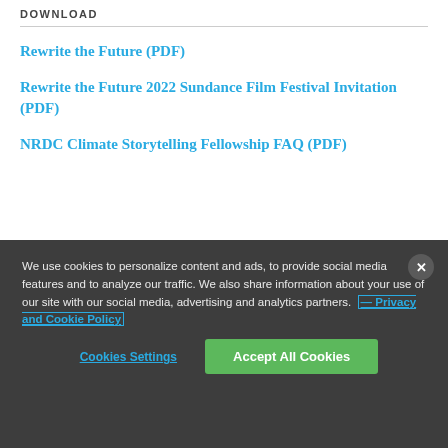DOWNLOAD
Rewrite the Future (PDF)
Rewrite the Future 2022 Sundance Film Festival Invitation (PDF)
NRDC Climate Storytelling Fellowship FAQ (PDF)
We use cookies to personalize content and ads, to provide social media features and to analyze our traffic. We also share information about your use of our site with our social media, advertising and analytics partners. — Privacy and Cookie Policy
Cookies Settings | Accept All Cookies